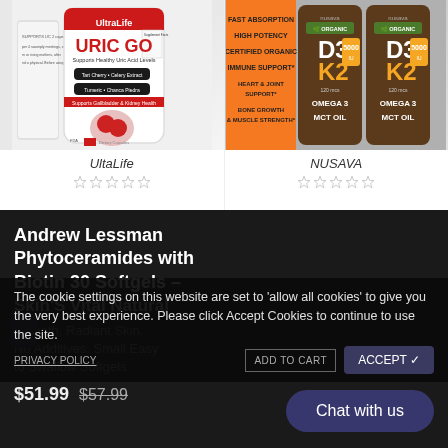[Figure (photo): UltaLife URIC GO supplement product photo - white bottle with red label]
UltaLife
[Figure (photo): NUSAVA D3 K2 Omega 3 MCT Oil supplement bottles with orange packaging]
NUSAVA
Andrew Lessman Phytoceramides with Biotin 30 Softgels – Skin'S Vital Natural
Smooth, Radiant Skin. No Additives. Small Easy to Swallow Softgels
The cookie settings on this website are set to 'allow all cookies' to give you the very best experience. Please click Accept Cookies to continue to use the site.
ADD TO CART
PRIVACY POLICY
ACCEPT ✓
$51.99   $57.99
Chat with us